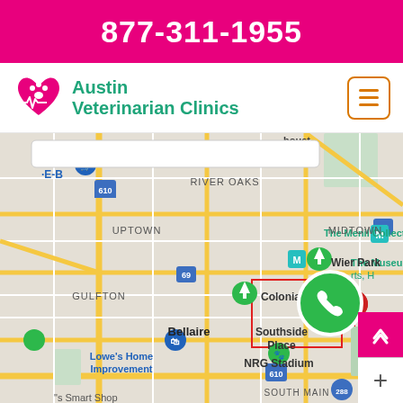877-311-1955
[Figure (logo): Austin Veterinarian Clinics logo with heart/paw icon]
Austin Veterinarian Clinics
[Figure (map): Google Maps screenshot showing Houston area including River Oaks, Uptown, Midtown, Gulfton, Bellaire, Southside Place, Colonial Park, Wier Park, The Menil Collection, The Museum of Fine Arts Houston, Texas Children's Hospital West Tower, Lowe's Home Improvement, NRG Stadium, South Main. Interstate markers: 610, 69, 288.]